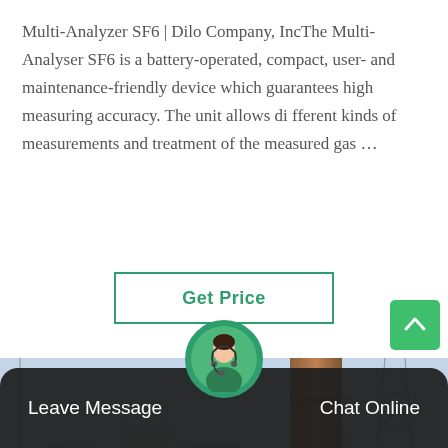Multi-Analyzer SF6 | Dilo Company, IncThe Multi-Analyser SF6 is a battery-operated, compact, user- and maintenance-friendly device which guarantees high measuring accuracy. The unit allows different kinds of measurements and treatment of the measured gas …
Get Price
[Figure (photo): Industrial electrical substation equipment showing large cylindrical SF6 gas insulated switchgear and high-voltage transformer structures with scaffolding and crane visible in background]
Leave Message
Chat Online